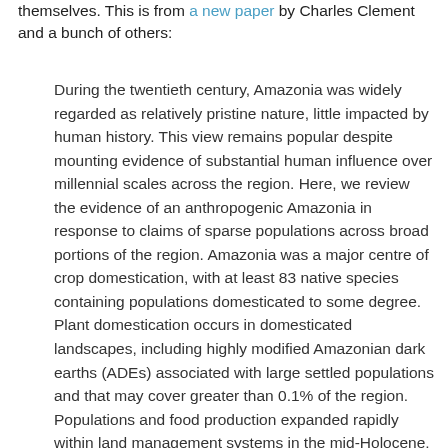themselves. This is from a new paper by Charles Clement and a bunch of others:
During the twentieth century, Amazonia was widely regarded as relatively pristine nature, little impacted by human history. This view remains popular despite mounting evidence of substantial human influence over millennial scales across the region. Here, we review the evidence of an anthropogenic Amazonia in response to claims of sparse populations across broad portions of the region. Amazonia was a major centre of crop domestication, with at least 83 native species containing populations domesticated to some degree. Plant domestication occurs in domesticated landscapes, including highly modified Amazonian dark earths (ADEs) associated with large settled populations and that may cover greater than 0.1% of the region. Populations and food production expanded rapidly within land management systems in the mid-Holocene, and complex societies expanded